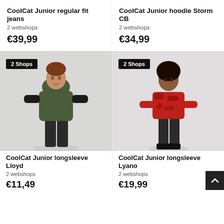CoolCat Junior regular fit jeans
2 webshops
€39,99
CoolCat Junior hoodie Storm CB
2 webshops
€34,99
[Figure (photo): Boy wearing olive green hoodie with black long sleeve underneath and dark jeans, badge '2 Shops']
[Figure (photo): Boy wearing red camouflage long sleeve top and dark jeans, badge '2 Shops']
CoolCat Junior longsleeve Lloyd
2 webshops
€11,49
CoolCat Junior longsleeve Lyano
2 webshops
€19,99